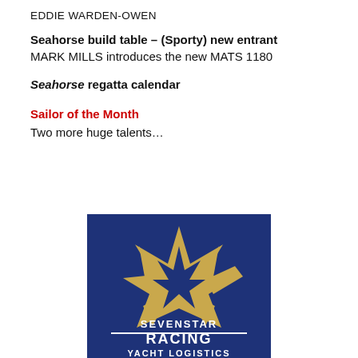EDDIE WARDEN-OWEN
Seahorse build table – (Sporty) new entrant
MARK MILLS introduces the new MATS 1180
Seahorse regatta calendar
Sailor of the Month
Two more huge talents…
[Figure (logo): Sevenstar Racing Yacht Logistics logo: dark navy blue background with a gold star-shaped lightning bolt logo, white text reading SEVENSTAR RACING YACHT LOGISTICS]